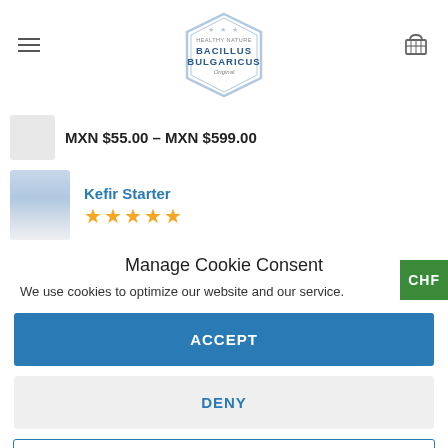Bacillus Bulgaricus — site header with logo, hamburger menu, and cart icon
MXN $55.00 – MXN $599.00
Kefir Starter ★★★★★
Manage Cookie Consent
We use cookies to optimize our website and our service.
ACCEPT
DENY
PREFERENCES